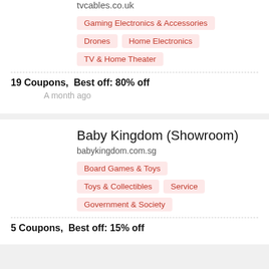tvcables.co.uk
Gaming Electronics & Accessories
Drones
Home Electronics
TV & Home Theater
19 Coupons,  Best off: 80% off
A month ago
Baby Kingdom (Showroom)
babykingdom.com.sg
Board Games & Toys
Toys & Collectibles
Service
Government & Society
5 Coupons,  Best off: 15% off